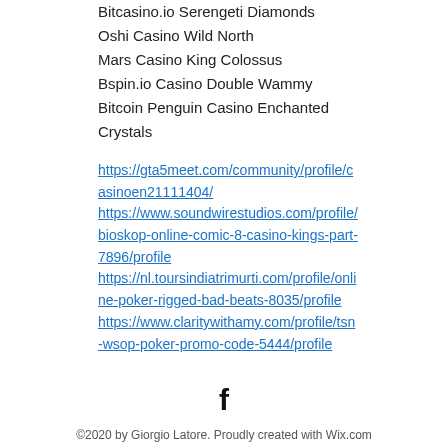Bitcasino.io Serengeti Diamonds
Oshi Casino Wild North
Mars Casino King Colossus
Bspin.io Casino Double Wammy
Bitcoin Penguin Casino Enchanted Crystals
https://gta5meet.com/community/profile/casinoen21111404/
https://www.soundwirestudios.com/profile/bioskop-online-comic-8-casino-kings-part-7896/profile
https://nl.toursindiatrimurti.com/profile/online-poker-rigged-bad-beats-8035/profile
https://www.claritywithamy.com/profile/tsn-wsop-poker-promo-code-5444/profile
[Figure (illustration): Facebook icon (letter f in black)]
©2020 by Giorgio Latore. Proudly created with Wix.com